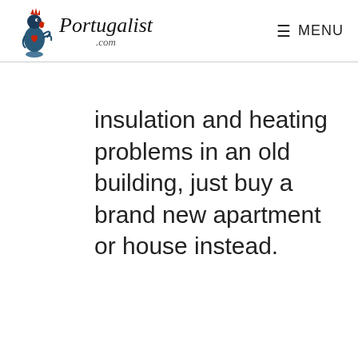Portugalist .com | MENU
insulation and heating problems in an old building, just buy a brand new apartment or house instead.